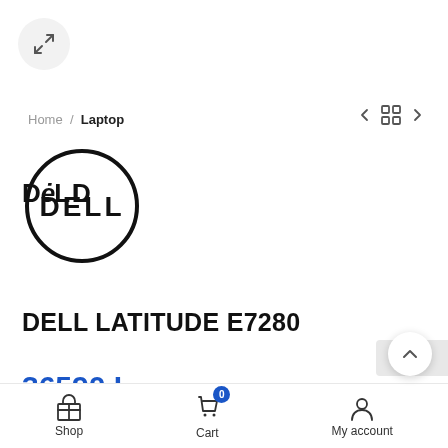[Figure (other): Expand/fullscreen button icon (arrows pointing outward in a circle)]
Home / Laptop
[Figure (other): Navigation icons: left arrow, grid/menu icon, right arrow]
[Figure (logo): Dell logo — circle with DELL text inside]
DELL LATITUDE E7280
36590 L
BRAND   DELL
[Figure (other): Scroll-up button (chevron up arrow in circle)]
[Figure (other): reCAPTCHA partial badge]
Shop   Cart (0)   My account